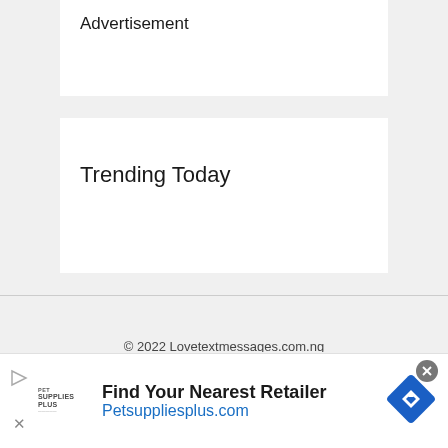Advertisement
Trending Today
© 2022 Lovetextmessages.com.ng
[Figure (infographic): Advertisement banner for Pet Supplies Plus showing 'Find Your Nearest Retailer' and 'Petsuppliesplus.com' with a blue navigation diamond icon and Pet Supplies Plus logo.]